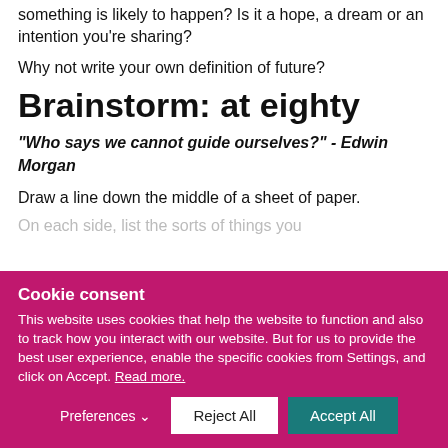something is likely to happen? Is it a hope, a dream or an intention you're sharing?
Why not write your own definition of future?
Brainstorm: at eighty
“Who says we cannot guide ourselves?”  - Edwin Morgan
Draw a line down the middle of a sheet of paper.
Cookie consent
This website uses cookies that help the website to function and also to track how you interact with our website. But for us to provide the best user experience, enable the specific cookies from Settings, and click on Accept. Read more.
Preferences
Reject All
Accept All